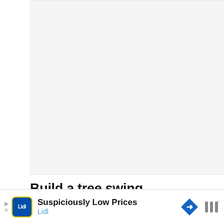[Figure (other): Light grey placeholder/ad area at top of page]
Build a tree swing.
[Figure (photo): Photo of a tree with red braided rope and green rope hanging from branches, surrounded by green foliage. UI overlays include a blue heart button, share button with count 7, and a 'WHAT'S NEXT' banner showing '10 Best Gazebos...']
[Figure (other): Advertisement bar at bottom: Lidl logo with text 'Suspiciously Low Prices' and 'Lidl', navigation arrows, directional road sign icon, and weather app icon]